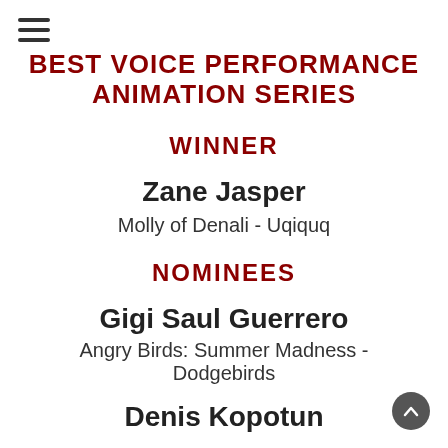BEST VOICE PERFORMANCE ANIMATION SERIES
WINNER
Zane Jasper
Molly of Denali - Uqiquq
NOMINEES
Gigi Saul Guerrero
Angry Birds: Summer Madness - Dodgebirds
Denis Kopotun